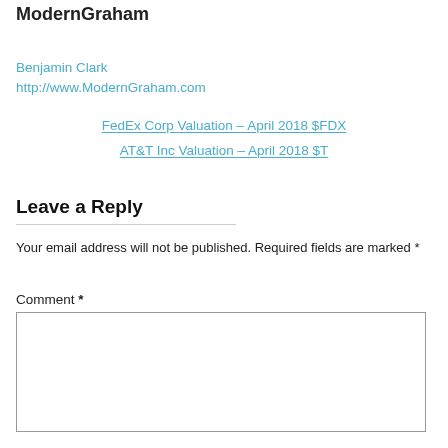ModernGraham
Benjamin Clark
http://www.ModernGraham.com
FedEx Corp Valuation – April 2018 $FDX
AT&T Inc Valuation – April 2018 $T
Leave a Reply
Your email address will not be published. Required fields are marked *
Comment *